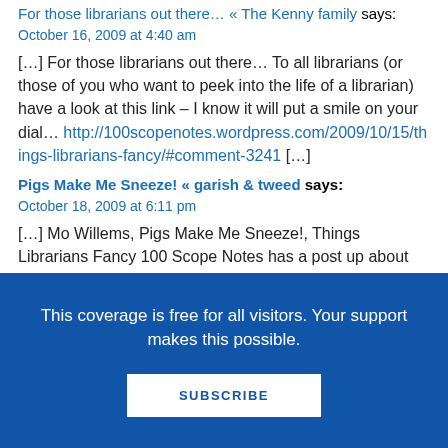For those librarians out there… « The Kenny family says:
October 16, 2009 at 4:40 am
[…] For those librarians out there… To all librarians (or those of you who want to peek into the life of a librarian) have a look at this link – I know it will put a smile on your dial… http://100scopenotes.wordpress.com/2009/10/15/things-librarians-fancy/#comment-3241 […]
Pigs Make Me Sneeze! « garish & tweed says:
October 18, 2009 at 6:11 pm
[…] Mo Willems, Pigs Make Me Sneeze!, Things Librarians Fancy 100 Scope Notes has a post up about Things Librarians Fancy, taking inspiration from
This coverage is free for all visitors. Your support makes this possible.
SUBSCRIBE